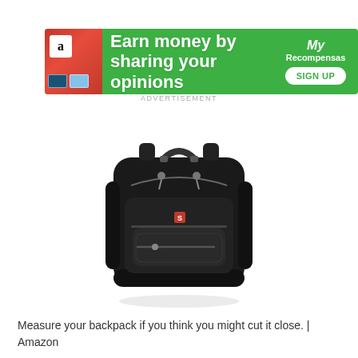[Figure (infographic): Green advertisement banner reading 'Earn money by sharing your opinions' with Amazon logo, credit card icons, MyRecompensas logo, and SIGN UP button]
ADVERTISEMENT
[Figure (photo): Black Swiss Gear / Wenger backpack with multiple compartments, silver zipper pulls, red logo badge, shown on white background]
Measure your backpack if you think you might cut it close. | Amazon